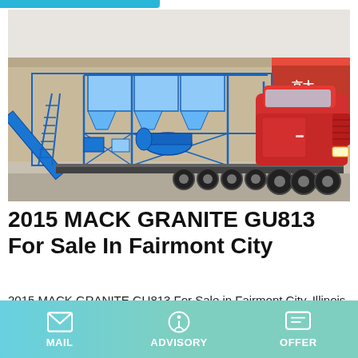[Figure (photo): A large red truck pulling a blue mobile concrete batching plant / industrial mixing equipment in an outdoor yard setting. A blue steel-framed structure with hoppers and conveyor is loaded on a trailer hitched to a red semi-truck cab.]
2015 MACK GRANITE GU813 For Sale In Fairmont City
2015 MACK GRANITE GU813 For Sale in Fairmont City, Illinois at usedtrucks412.com. MP7-365, Allison Transmission
MAIL  ADVISORY  OFFER